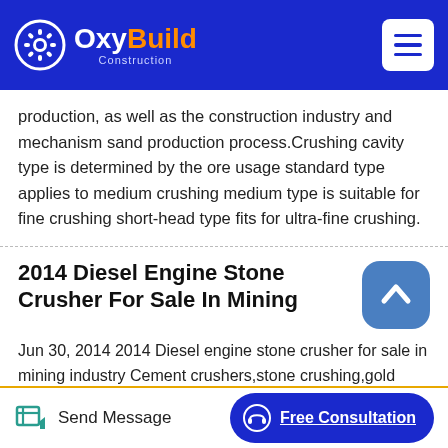OxyBuild Construction
production, as well as the construction industry and mechanism sand production process.Crushing cavity type is determined by the ore usage standard type applies to medium crushing medium type is suitable for fine crushing short-head type fits for ultra-fine crushing.
2014 Diesel Engine Stone Crusher For Sale In Mining
Jun 30, 2014 2014 Diesel engine stone crusher for sale in mining industry Cement crushers,stone crushing,gold mining equipment and coal crushing plant manufacturer. It is the primary source of aluminum. it is a challenge for the cone crusher manufacturer. There is spring cone crusher before, now there is other new kind of.
Send Message | Free Consultation